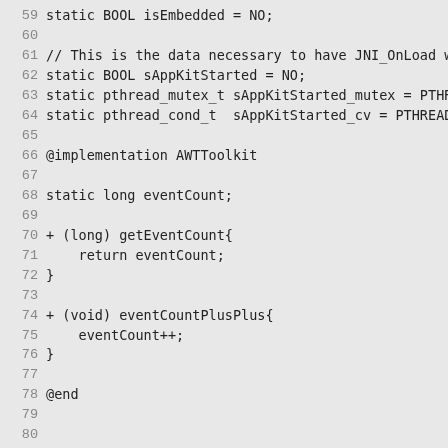Source code listing lines 59-88, Objective-C file showing AWTToolkit and AWTRunLoopObject implementations. Lines include static variable declarations, method implementations for getEventCount and eventCountPlusPlus, and interface/implementation blocks.